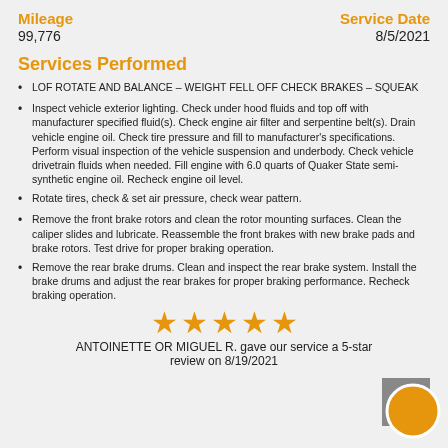Mileage
Service Date
99,776
8/5/2021
Services Performed
LOF ROTATE AND BALANCE – WEIGHT FELL OFF CHECK BRAKES – SQUEAK
Inspect vehicle exterior lighting. Check under hood fluids and top off with manufacturer specified fluid(s). Check engine air filter and serpentine belt(s). Drain vehicle engine oil. Check tire pressure and fill to manufacturer's specifications. Perform visual inspection of the vehicle suspension and underbody. Check vehicle drivetrain fluids when needed. Fill engine with 6.0 quarts of Quaker State semi-synthetic engine oil. Recheck engine oil level.
Rotate tires, check & set air pressure, check wear pattern.
Remove the front brake rotors and clean the rotor mounting surfaces. Clean the caliper slides and lubricate. Reassemble the front brakes with new brake pads and brake rotors. Test drive for proper braking operation.
Remove the rear brake drums. Clean and inspect the rear brake system. Install the brake drums and adjust the rear brakes for proper braking performance. Recheck braking operation.
[Figure (other): Five gold/orange star rating icons]
ANTOINETTE OR MIGUEL R. gave our service a 5-star review on 8/19/2021